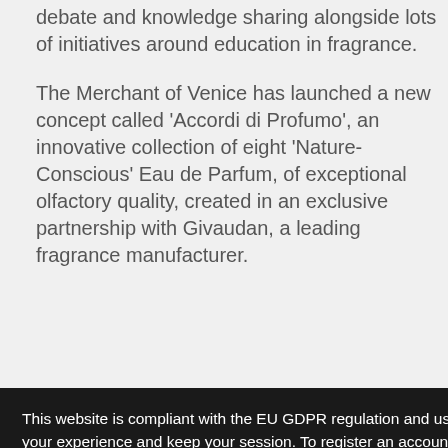debate and knowledge sharing alongside lots of initiatives around education in fragrance.
The Merchant of Venice has launched a new concept called 'Accordi di Profumo', an innovative collection of eight 'Nature-Conscious' Eau de Parfum, of exceptional olfactory quality, created in an exclusive partnership with Givaudan, a leading fragrance manufacturer.
This website is compliant with the EU GDPR regulation and uses technical and functional cookies in order to improve your experience and keep your session. To register an account, contact us, get our products or services you must accept our Privacy Policy. By clicking on the 'Accept' button or clicking on any link included on this page you consent the usage of cookies and accept our Cookies Policy. Cookie policy   Privacy policy
are made of biodegradable paper obtained from